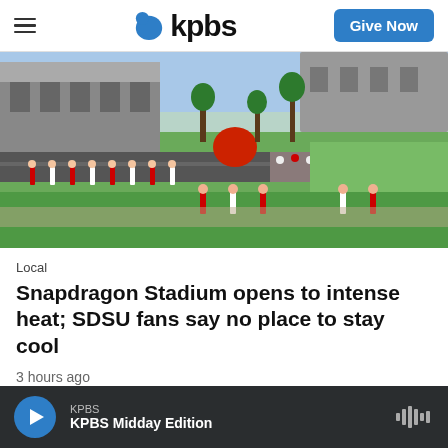kpbs | Give Now
[Figure (photo): Aerial/elevated view of Snapdragon Stadium exterior with cheerleaders lining a pathway and crowds of people gathered near the stadium on a sunny day with green fields in background.]
Local
Snapdragon Stadium opens to intense heat; SDSU fans say no place to stay cool
3 hours ago
KPBS  KPBS Midday Edition